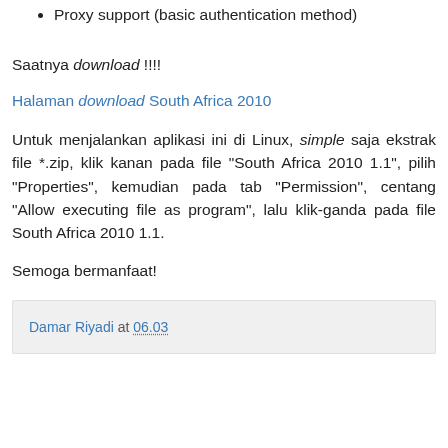Proxy support (basic authentication method)
Saatnya download !!!!
Halaman download South Africa 2010
Untuk menjalankan aplikasi ini di Linux, simple saja ekstrak file *.zip, klik kanan pada file "South Africa 2010 1.1", pilih "Properties", kemudian pada tab "Permission", centang "Allow executing file as program", lalu klik-ganda pada file South Africa 2010 1.1.
Semoga bermanfaat!
Damar Riyadi at 06.03